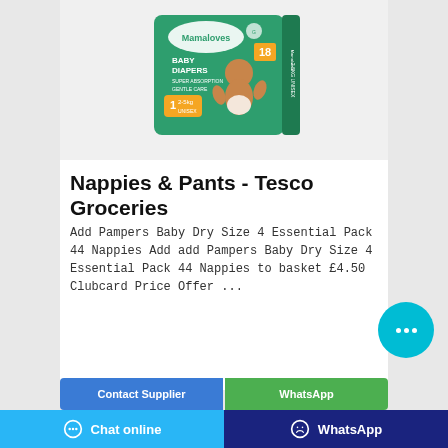[Figure (photo): Mamaloves Baby Diapers product box, green packaging, size 1 for 2-5kg, unisex, 18 count, showing a baby on the front]
Nappies & Pants - Tesco Groceries
Add Pampers Baby Dry Size 4 Essential Pack 44 Nappies Add add Pampers Baby Dry Size 4 Essential Pack 44 Nappies to basket £4.50 Clubcard Price Offer ...
[Figure (screenshot): Chat bubble button with three dots, cyan/teal circle]
Contact Supplier   WhatsApp   Chat online   WhatsApp